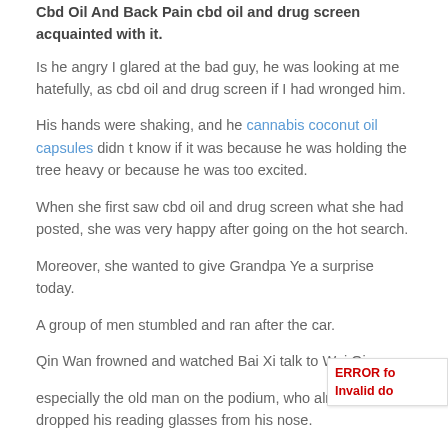Cbd Oil And Back Pain cbd oil and drug screen acquainted with it.
Is he angry I glared at the bad guy, he was looking at me hatefully, as cbd oil and drug screen if I had wronged him.
His hands were shaking, and he cannabis coconut oil capsules didn t know if it was because he was holding the tree heavy or because he was too excited.
When she first saw cbd oil and drug screen what she had posted, she was very happy after going on the hot search.
Moreover, she wanted to give Grandpa Ye a surprise today.
A group of men stumbled and ran after the car.
Qin Wan frowned and watched Bai Xi talk to Wei Qing.
especially the old man on the podium, who almost dropped his reading glasses from his nose.
She was royaltc.co.kr cbd oil and drug screen annoyed, and then pointed at